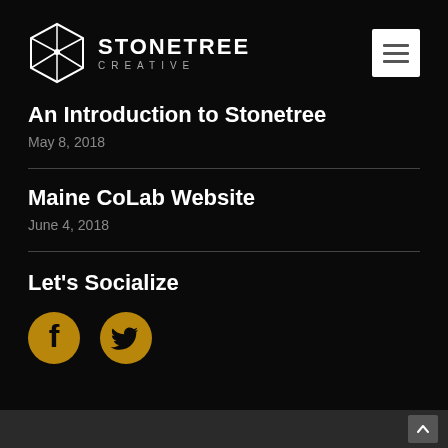STONETREE CREATIVE
An Introduction to Stonetree
May 8, 2018
Maine CoLab Website
June 4, 2018
Let's Socialize
[Figure (illustration): Facebook and Twitter social media icons in gold/amber color]
Back to top button